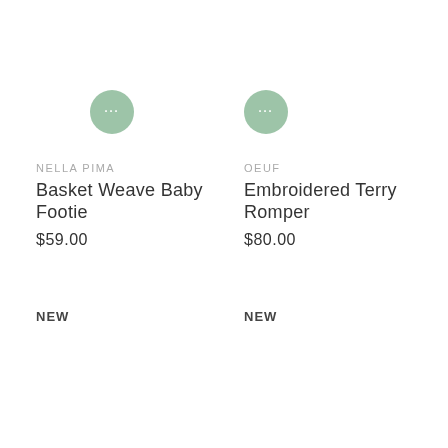[Figure (other): Green circular menu button with three dots (ellipsis) for product 1]
NELLA PIMA
Basket Weave Baby Footie
$59.00
NEW
[Figure (other): Green circular menu button with three dots (ellipsis) for product 2]
OEUF
Embroidered Terry Romper
$80.00
NEW